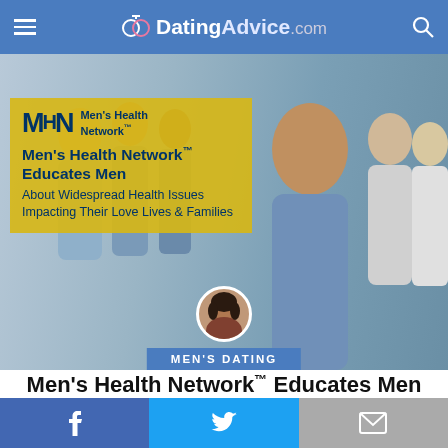DatingAdvice.com
[Figure (photo): Hero image showing group of men with Men's Health Network yellow overlay box. MHN logo and text: Men's Health Network™ Educates Men About Widespread Health Issues Impacting Their Love Lives & Families. Small circular avatar photo of a woman at the bottom center. MEN'S DATING badge label.]
Men's Health Network™ Educates Men About Widespread Health Issues Impacting Their Love Lives & Families
[Figure (infographic): Social share buttons bar: Facebook (blue), Twitter (light blue), Email (gray)]